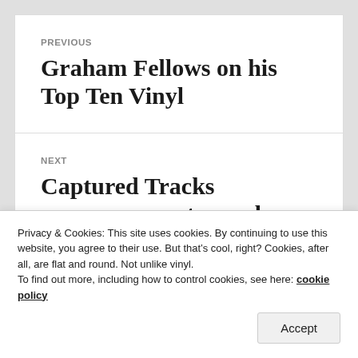PREVIOUS
Graham Fellows on his Top Ten Vinyl
NEXT
Captured Tracks announce mystery releases to
Privacy & Cookies: This site uses cookies. By continuing to use this website, you agree to their use. But that’s cool, right? Cookies, after all, are flat and round. Not unlike vinyl.
To find out more, including how to control cookies, see here: cookie policy
Accept